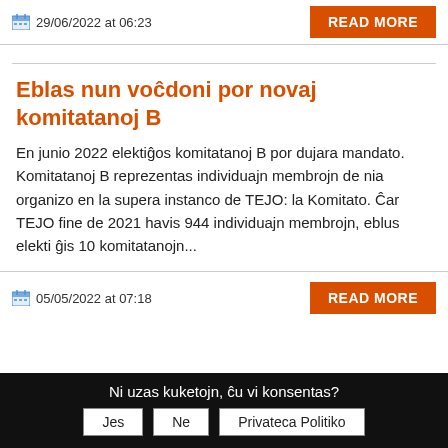29/06/2022 at 06:23
READ MORE
Eblas nun voĉdoni por novaj komitatanoj B
En junio 2022 elektiĝos komitatanoj B por dujara mandato. Komitatanoj B reprezentas individuajn membrojn de nia organizo en la supera instanco de TEJO: la Komitato. Ĉar TEJO fine de 2021 havis 944 individuajn membrojn, eblus elekti ĝis 10 komitatanojn...
05/05/2022 at 07:18
READ MORE
Ni uzas kuketojn, ĉu vi konsentas?
Jes
Ne
Privateca Politiko